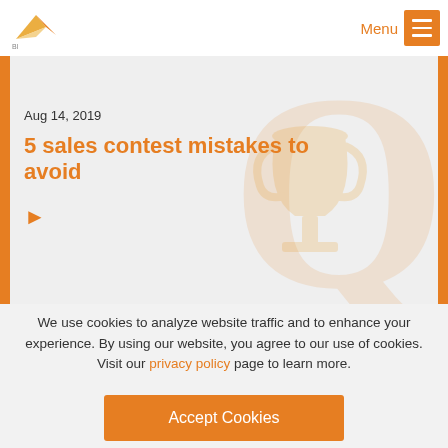Menu
[Figure (illustration): Blog article hero banner with light grey background, decorative trophy and Q letter watermarks in pale orange, orange side bars, date Aug 14, 2019, title '5 sales contest mistakes to avoid' in orange, and orange right-arrow chevron]
We use cookies to analyze website traffic and to enhance your experience. By using our website, you agree to our use of cookies. Visit our privacy policy page to learn more.
Accept Cookies